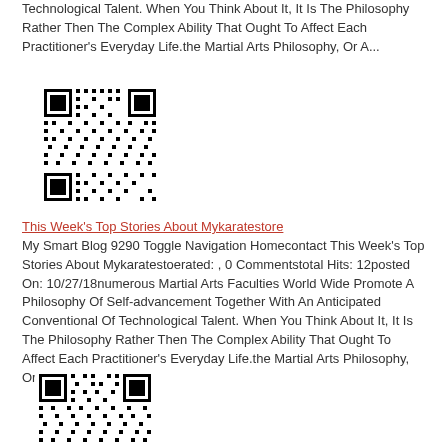Technological Talent. When You Think About It, It Is The Philosophy Rather Then The Complex Ability That Ought To Affect Each Practitioner's Everyday Life.the Martial Arts Philosophy, Or A...
[Figure (other): QR code image (first)]
This Week's Top Stories About Mykaratestore
My Smart Blog 9290 Toggle Navigation Homecontact This Week's Top Stories About Mykaratestoerated: , 0 Commentstotal Hits: 12posted On: 10/27/18numerous Martial Arts Faculties World Wide Promote A Philosophy Of Self-advancement Together With An Anticipated Conventional Of Technological Talent. When You Think About It, It Is The Philosophy Rather Then The Complex Ability That Ought To Affect Each Practitioner's Everyday Life.the Martial Arts Philosophy, Or A...
[Figure (other): QR code image (second)]